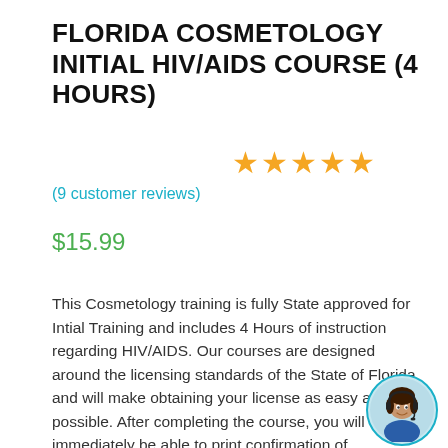FLORIDA COSMETOLOGY INITIAL HIV/AIDS COURSE (4 HOURS)
[Figure (other): Five gold/orange star rating icons]
(9 customer reviews)
$15.99
This Cosmetology training is fully State approved for Intial Training and includes 4 Hours of instruction regarding HIV/AIDS. Our courses are designed around the licensing standards of the State of Florida and will make obtaining your license as easy as possible. After completing the course, you will immediately be able to print confirmation of completion.  @HomePrep is a National Leader in online education. With over 100,000 satisfied students and a course catalog of over 1,000 classes, we are here to help you – Invest in Yourself!
[Figure (photo): Customer support representative avatar photo with teal circular border]